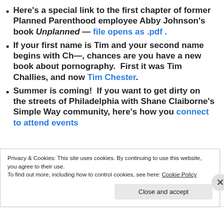Here's a special link to the first chapter of former Planned Parenthood employee Abby Johnson's book Unplanned — file opens as .pdf .
If your first name is Tim and your second name begins with Ch—, chances are you have a new book about pornography.  First it was Tim Challies, and now Tim Chester.
Summer is coming!  If you want to get dirty on the streets of Philadelphia with Shane Claiborne's Simple Way community, here's how you connect to attend events
Privacy & Cookies: This site uses cookies. By continuing to use this website, you agree to their use. To find out more, including how to control cookies, see here: Cookie Policy
Close and accept